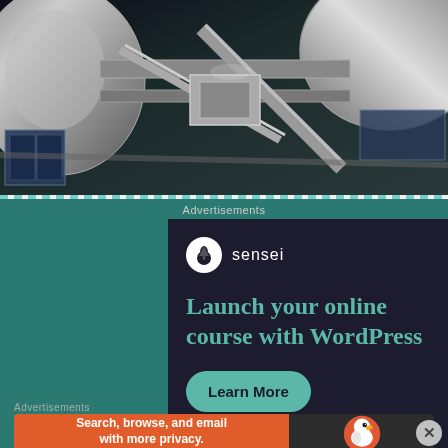[Figure (photo): Close-up photograph of a metallic space station structure with chrome/silver components, solar panels and mechanical arms visible against a dark background]
Advertisements
[Figure (screenshot): Sensei advertisement: Logo with tree icon and 'sensei' text. Headline reads 'Launch your online course with WordPress'. Green 'Learn More' button on dark background]
Advertisements
[Figure (screenshot): DuckDuckGo advertisement: Orange section reads 'Search, browse, and email with more privacy. All in One Free App'. Dark section shows DuckDuckGo duck logo and brand name]